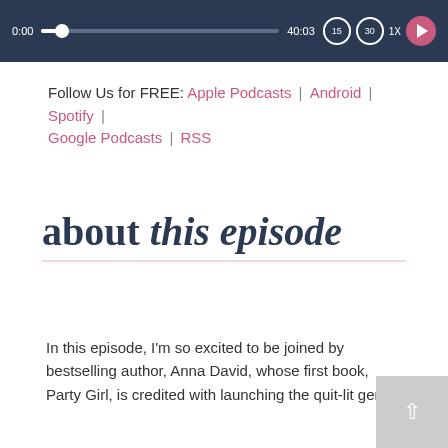[Figure (screenshot): Audio player bar showing time 0:00, progress bar, time 40:03, skip buttons (15, 30), speed 1x, and play button]
Follow Us for FREE: Apple Podcasts | Android | Spotify | Google Podcasts | RSS
about this episode
In this episode, I'm so excited to be joined by bestselling author, Anna David, whose first book, Party Girl, is credited with launching the quit-lit genre.